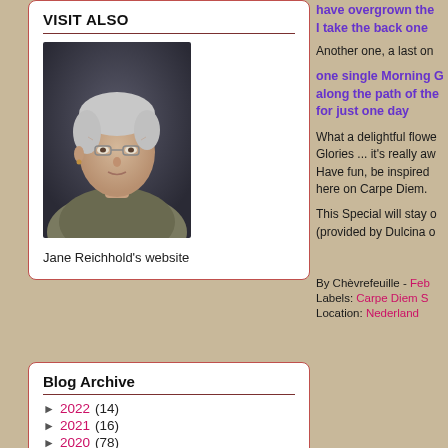VISIT ALSO
[Figure (photo): Portrait photo of an elderly woman with short white/gray hair, wearing glasses and a gray/green textured jacket, looking slightly to the side against a dark background]
Jane Reichhold's website
Blog Archive
► 2022 (14)
► 2021 (16)
► 2020 (78)
► 2019 (290)
have overgrown the I take the back one
Another one, a last on
one single Morning G along the path of the for just one day
What a delightful flowe Glories ... it's really aw Have fun, be inspired here on Carpe Diem.
This Special will stay o (provided by Dulcina o
By Chèvrefeuille - Feb
Labels: Carpe Diem S
Location: Nederland